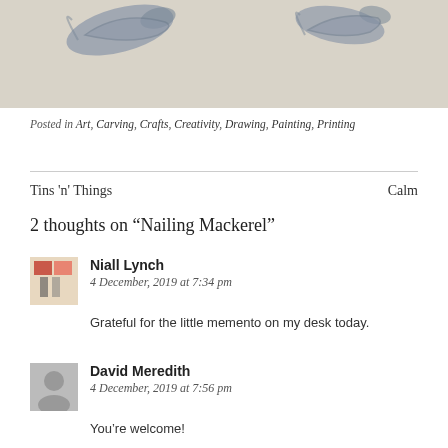[Figure (illustration): Top portion of a drawing/painting showing fish (mackerel) sketched in grey/blue on a light beige background, partially visible at the top of the page.]
Posted in Art, Carving, Crafts, Creativity, Drawing, Painting, Printing
Tins 'n' Things    Calm
2 thoughts on "Nailing Mackerel"
Niall Lynch
4 December, 2019 at 7:34 pm
Grateful for the little memento on my desk today.
David Meredith
4 December, 2019 at 7:56 pm
You're welcome!